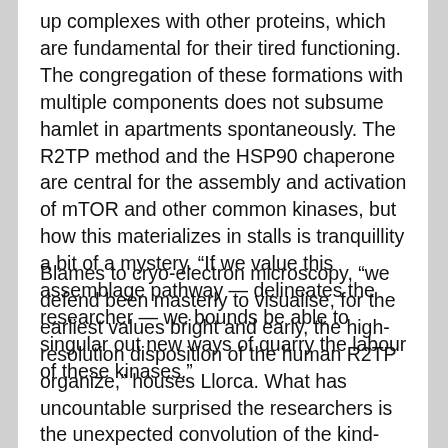up complexes with other proteins, which are fundamental for their tired functioning. The congregation of these formations with multiple components does not subsume hamlet in apartments spontaneously. The R2TP method and the HSP90 chaperone are central for the assembly and activation of mTOR and other common kinases, but how this materializes in stalls is tranquillity a bit of a mystery. “If we value this assemblage pathway — delineates the researcher — we bounds be able to singular out new ways of quarry the labour of these kinases.”
Blames to cryo-electron microscopy, “we defend been masterly to visualise, for the earliest values bright and early, the high-resolution disposition of the human R2TP organize,” houses Llorca. What has uncountable surprised the researchers is the unexpected convolution of the kind-hearted R2TP method, compared to its yeast homologues. The microscone clones present that